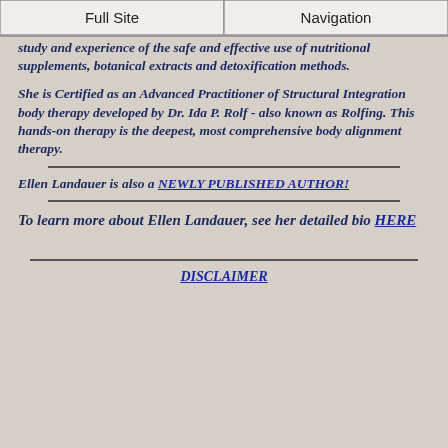Full Site | Navigation
study and experience of the safe and effective use of nutritional supplements, botanical extracts and detoxification methods.
She is Certified as an Advanced Practitioner of Structural Integration body therapy developed by Dr. Ida P. Rolf - also known as Rolfing. This hands-on therapy is the deepest, most comprehensive body alignment therapy.
Ellen Landauer is also a NEWLY PUBLISHED AUTHOR!
To learn more about Ellen Landauer, see her detailed bio HERE
DISCLAIMER